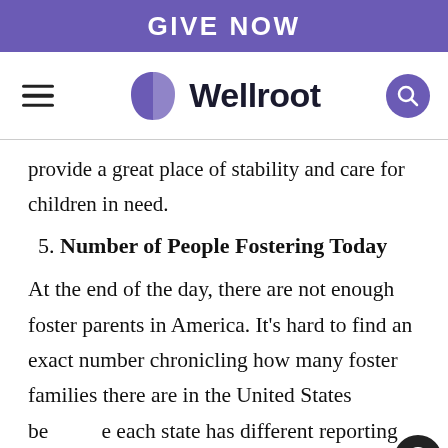GIVE NOW
[Figure (logo): Wellroot logo with hamburger menu and search button]
provide a great place of stability and care for children in need.
5. Number of People Fostering Today
At the end of the day, there are not enough foster parents in America. It's hard to find an exact number chronicling how many foster families there are in the United States because each state has different reporting mechanisms. Simply put, we need more. Which brings us to